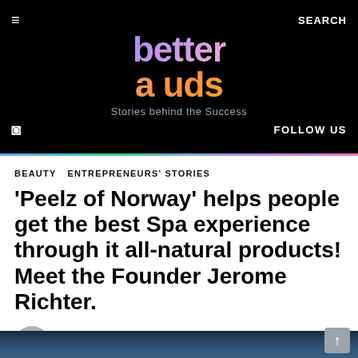better auds — Stories behind the Success
BEAUTY   ENTREPRENEURS' STORIES
'Peelz of Norway' helps people get the best Spa experience through it all-natural products! Meet the Founder Jerome Richter.
by BetterAuds Team
1.6k Views